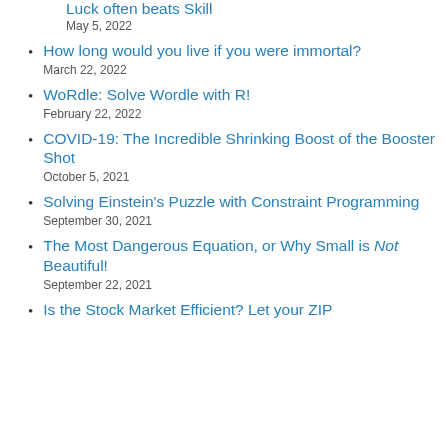Luck often beats Skill
May 5, 2022
How long would you live if you were immortal?
March 22, 2022
WoRdle: Solve Wordle with R!
February 22, 2022
COVID-19: The Incredible Shrinking Boost of the Booster Shot
October 5, 2021
Solving Einstein's Puzzle with Constraint Programming
September 30, 2021
The Most Dangerous Equation, or Why Small is Not Beautiful!
September 22, 2021
Is the Stock Market Efficient? Let your ZIP...